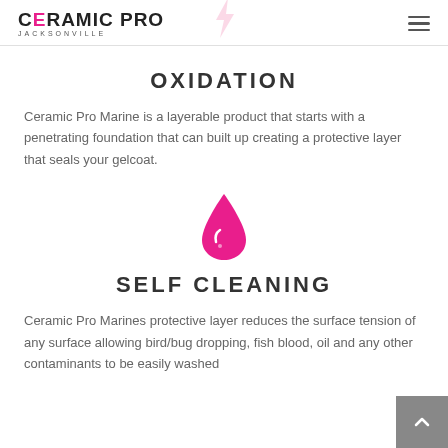Ceramic Pro Jacksonville
OXIDATION
Ceramic Pro Marine is a layerable product that starts with a penetrating foundation that can built up creating a protective layer that seals your gelcoat.
[Figure (illustration): Pink water droplet icon with a small swirl/shine mark inside]
SELF CLEANING
Ceramic Pro Marines protective layer reduces the surface tension of any surface allowing bird/bug dropping, fish blood, oil and any other contaminants to be easily washed